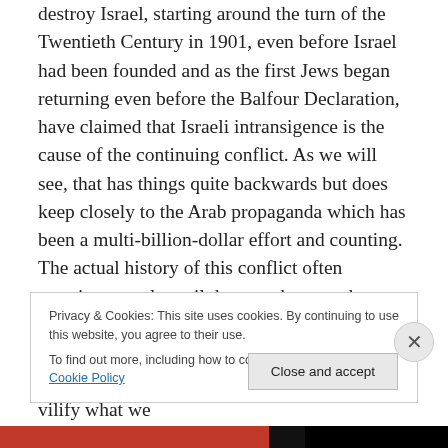destroy Israel, starting around the turn of the Twentieth Century in 1901, even before Israel had been founded and as the first Jews began returning even before the Balfour Declaration, have claimed that Israeli intransigence is the cause of the continuing conflict. As we will see, that has things quite backwards but does keep closely to the Arab propaganda which has been a multi-billion-dollar effort and counting. The actual history of this conflict often surprises people until they reach out and attempt to verify the truth and validate or disqualify what they have read. We invite people to make an honest effort to verify or vilify what we
Privacy & Cookies: This site uses cookies. By continuing to use this website, you agree to their use.
To find out more, including how to control cookies, see here: Cookie Policy
Close and accept